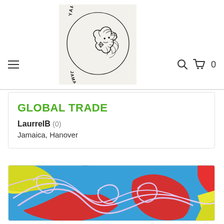[Figure (logo): YardyDiamonds.com Jamaican Marketplace logo — lion with diamond, circular text]
GLOBAL TRADE
LaurrelB (0)
Jamaica, Hanover
[Figure (photo): Colorful abstract patterned fabric/flip-flop product image in blue, red, yellow with white swirling lines]